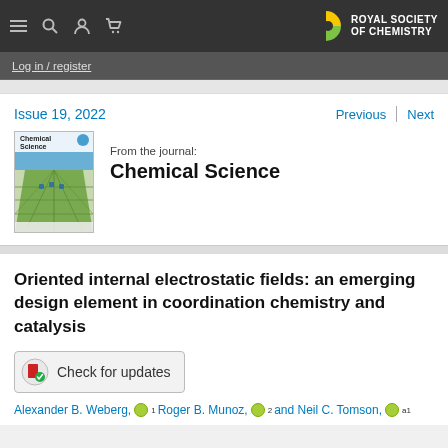Royal Society of Chemistry — Navigation bar with menu, search, account, cart icons and RSC logo
Log in / register
Issue 19, 2022
Previous | Next
[Figure (photo): Chemical Science journal cover image showing rows of laboratory equipment/robotic arms in a facility, with the Chemical Science logo at top left]
From the journal: Chemical Science
Oriented internal electrostatic fields: an emerging design element in coordination chemistry and catalysis
[Figure (other): Check for updates button with circular icon]
Alexander B. Weberg, 1 Roger B. Munoz, 2 and Neil C. Tomson, a1